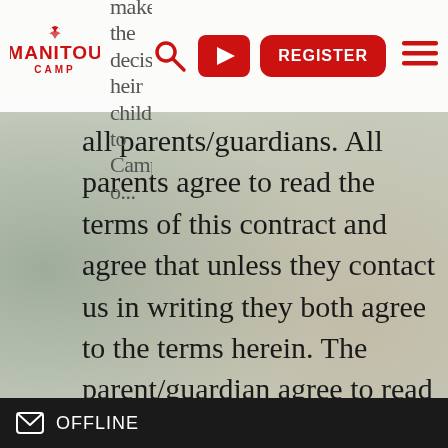be able to make the decision... their child(ren) to Camp...
all parents/guardians. All parents agree to read the terms of this contract and agree that unless they contact us in writing they both agree to the terms herein. The parent/guardian agree to read the Camp Manual (distributed in spring) so that we are aware of all the rules, and policies of the camp and that we understand that all of the camp rules, as outlined in the manual or otherwise apply to our child(ren) and we agree to review this manual with
OFFLINE